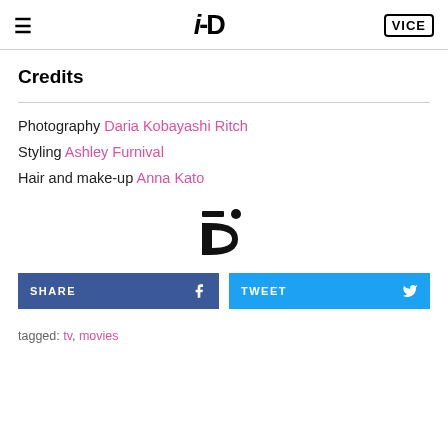≡  i-D  VICE
Credits
Photography Daria Kobayashi Ritch
Styling Ashley Furnival
Hair and make-up Anna Kato
[Figure (logo): i-D magazine winking face logo icon]
SHARE  TWEET
tagged: tv, movies